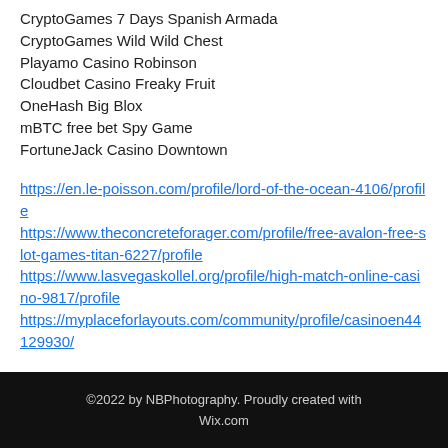CryptoGames 7 Days Spanish Armada
CryptoGames Wild Wild Chest
Playamo Casino Robinson
Cloudbet Casino Freaky Fruit
OneHash Big Blox
mBTC free bet Spy Game
FortuneJack Casino Downtown
https://en.le-poisson.com/profile/lord-of-the-ocean-4106/profile https://www.theconcreteforager.com/profile/free-avalon-free-slot-games-titan-6227/profile https://www.lasvegaskollel.org/profile/high-match-online-casino-9817/profile https://myplaceforlayouts.com/community/profile/casinoen44129930/
©2022 by NBPhotography. Proudly created with Wix.com